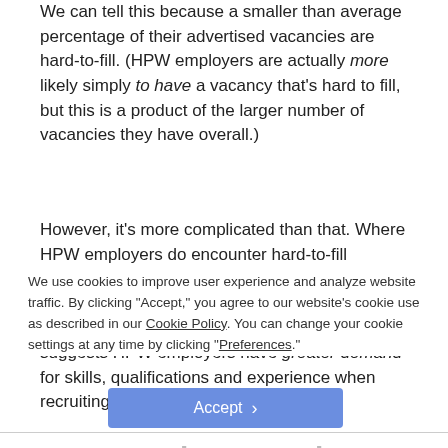We can tell this because a smaller than average percentage of their advertised vacancies are hard-to-fill. (HPW employers are actually more likely simply to have a vacancy that's hard to fill, but this is a product of the larger number of vacancies they have overall.)
However, it's more complicated than that. Where HPW employers do encounter hard-to-fill vacancies, a greater proportion of these are caused by skills shortages (72% compared with 67% of non-HPW employer HTFVs). This suggests HPW employers have greater demand for skills, qualifications and experience when recruiting.
HPW employers train more
The most common response to employers identifying skills problems, taking steps to deal with them is a sign of enlightened HR. Indeed, having a training plan is one of the 21 items on the HPW questionnaire...